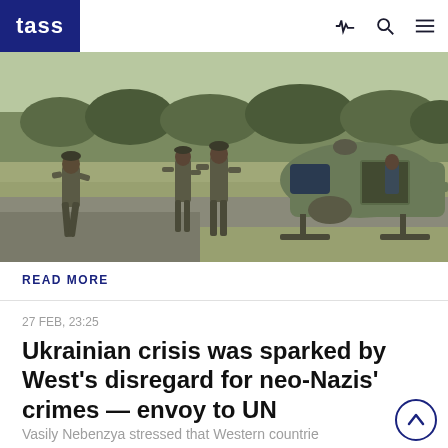TASS
[Figure (photo): Military personnel in olive/khaki uniforms walking on an airfield next to a large green military helicopter. Three figures are visible on the left side walking, and a person is visible in the helicopter cargo door on the right. Dry grass and trees in the background.]
READ MORE
27 FEB, 23:25
Ukrainian crisis was sparked by West's disregard for neo-Nazis' crimes — envoy to UN
Vasily Nebenzya stressed that Western countrie